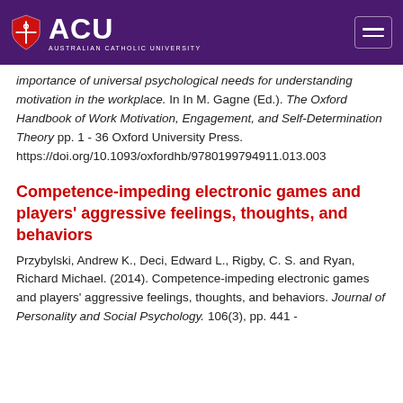[Figure (logo): ACU Australian Catholic University logo with shield on purple header bar with hamburger menu icon]
importance of universal psychological needs for understanding motivation in the workplace. In In M. Gagne (Ed.). The Oxford Handbook of Work Motivation, Engagement, and Self-Determination Theory pp. 1 - 36 Oxford University Press. https://doi.org/10.1093/oxfordhb/9780199794911.013.003
Competence-impeding electronic games and players' aggressive feelings, thoughts, and behaviors
Przybylski, Andrew K., Deci, Edward L., Rigby, C. S. and Ryan, Richard Michael. (2014). Competence-impeding electronic games and players' aggressive feelings, thoughts, and behaviors. Journal of Personality and Social Psychology. 106(3), pp. 441 -